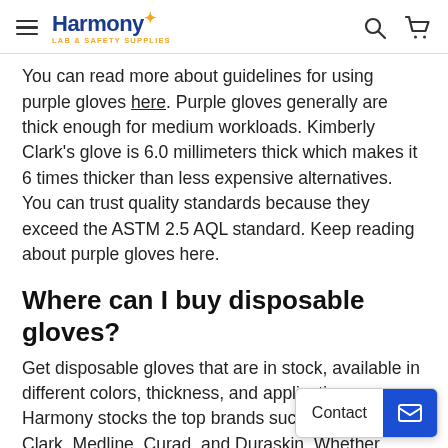Harmony Lab & Safety Supplies
You can read more about guidelines for using purple gloves here. Purple gloves generally are thick enough for medium workloads. Kimberly Clark's glove is 6.0 millimeters thick which makes it 6 times thicker than less expensive alternatives. You can trust quality standards because they exceed the ASTM 2.5 AQL standard. Keep reading about purple gloves here.
Where can I buy disposable gloves?
Get disposable gloves that are in stock, available in different colors, thickness, and applications. Harmony stocks the top brands such as Kimberly Clark, Medline, Curad, and Duraskin. Whether you're a healthcare worker interacting closely with sick patients, or a lab worker handling hazardous materials, wearing the right kind of hand protection is extremely